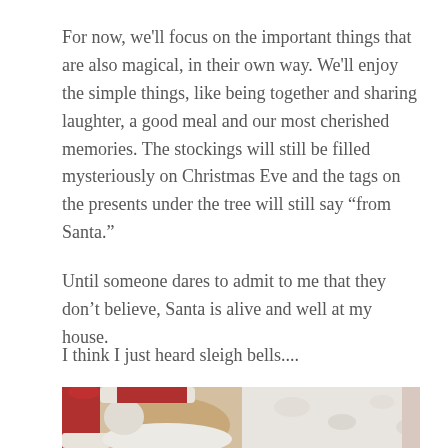For now, we'll focus on the important things that are also magical, in their own way. We'll enjoy the simple things, like being together and sharing laughter, a good meal and our most cherished memories. The stockings will still be filled mysteriously on Christmas Eve and the tags on the presents under the tree will still say “from Santa.”
Until someone dares to admit to me that they don’t believe, Santa is alive and well at my house.
I think I just heard sleigh bells....
[Figure (photo): A partial photo of Santa Claus, showing his red hat, white fur trim, and white beard/hair, with a light floral background visible to the right.]